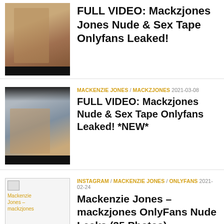[Figure (photo): Thumbnail image of a person with dark hair, dark background with phone-like frame, black bar at bottom]
FULL VIDEO: Mackzjones Jones Nude & Sex Tape Onlyfans Leaked!
[Figure (photo): Thumbnail image of a person with dark hair against blue/gray background with phone-like frame, black bar at bottom]
MACKENZIE JONES / MACKZJONES 2021-03-08
FULL VIDEO: Mackzjones Nude & Sex Tape Onlyfans Leaked! *NEW*
[Figure (photo): Small broken image icon with yellow-linked text reading Mackenzie Jones - mackzjones]
INSTAGRAM / MACKENZIE JONES / ONLYFANS 2021-02-24
Mackenzie Jones – mackzjones OnlyFans Nude Leaks (35 Photos)